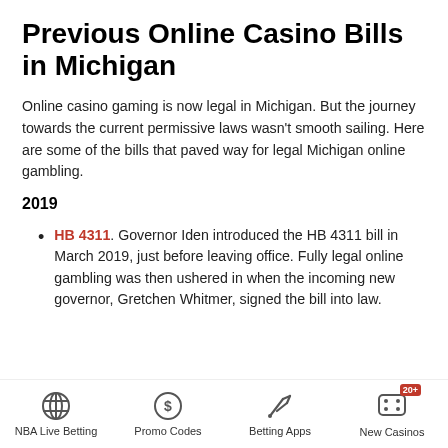Previous Online Casino Bills in Michigan
Online casino gaming is now legal in Michigan. But the journey towards the current permissive laws wasn't smooth sailing. Here are some of the bills that paved way for legal Michigan online gambling.
2019
HB 4311. Governor Iden introduced the HB 4311 bill in March 2019, just before leaving office. Fully legal online gambling was then ushered in when the incoming new governor, Gretchen Whitmer, signed the bill into law.
NBA Live Betting | Promo Codes | Betting Apps | New Casinos 20+